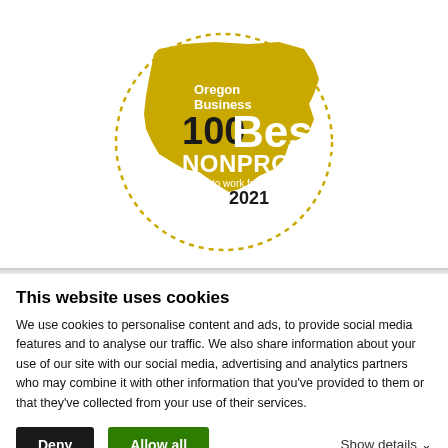[Figure (logo): Oregon Business 100 Best Nonprofits to work for in Oregon 2021 award logo — gold silhouette of Oregon state with dotted circle border, white and black text overlay]
This website uses cookies
We use cookies to personalise content and ads, to provide social media features and to analyse our traffic. We also share information about your use of our site with our social media, advertising and analytics partners who may combine it with other information that you've provided to them or that they've collected from your use of their services.